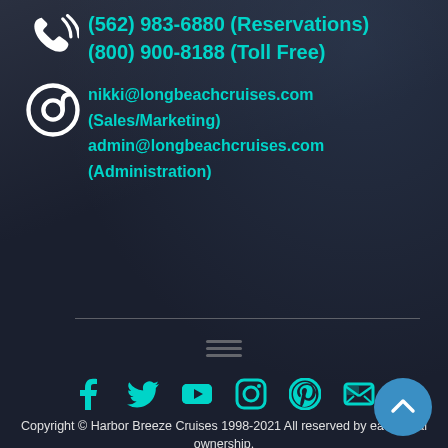(562) 983-6880 (Reservations)
(800) 900-8188 (Toll Free)
nikki@longbeachcruises.com (Sales/Marketing)
admin@longbeachcruises.com (Administration)
[Figure (infographic): Social media icons row: Facebook, Twitter, YouTube, Instagram, Pinterest, Email]
Copyright © Harbor Breeze Cruises 1998-2021 All reserved by each legal ownership.